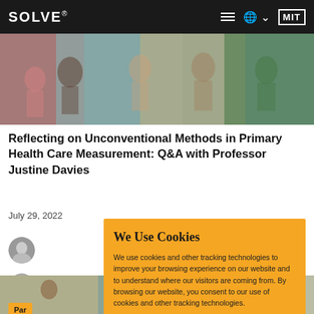SOLVE® MIT
[Figure (photo): Group of people outdoors, community health setting]
Reflecting on Unconventional Methods in Primary Health Care Measurement: Q&A with Professor Justine Davies
July 29, 2022
[Figure (photo): Avatar portrait of first author]
[Figure (photo): Avatar portrait of second author]
We Use Cookies
We use cookies and other tracking technologies to improve your browsing experience on our website and to understand where our visitors are coming from. By browsing our website, you consent to our use of cookies and other tracking technologies.
Par
[Figure (photo): Bottom photo strip showing multiple people]